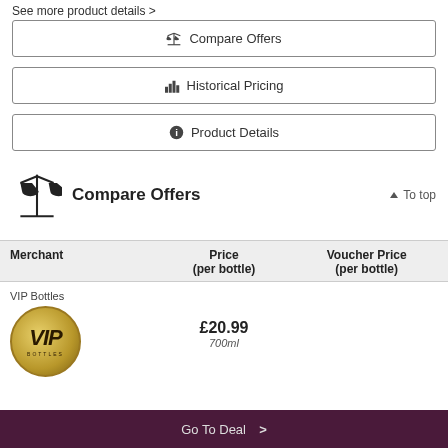See more product details >
⚖ Compare Offers
📊 Historical Pricing
ℹ Product Details
Compare Offers
| Merchant | Price (per bottle) | Voucher Price (per bottle) |
| --- | --- | --- |
| VIP Bottles | £20.99
700ml |  |
Go To Deal >